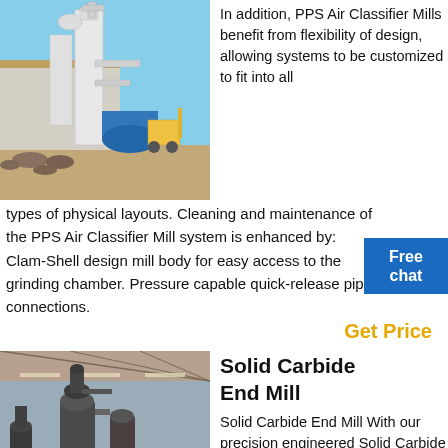[Figure (photo): Outdoor industrial facility showing large white vertical mill/classifier equipment with pipes and ductwork, blue cylindrical vessel, construction materials and forklift in background under blue sky.]
In addition, PPS Air Classifier Mills benefit from flexibility of design, allowing systems to be customized to fit into all types of physical layouts. Cleaning and maintenance of the PPS Air Classifier Mill system is enhanced by: Clam-Shell design mill body for easy access to the grinding chamber. Pressure capable quick-release pipe connections.
Get Price
[Figure (photo): Indoor industrial facility with large vertical grinding mill equipment under a covered shed with metal roof, multiple cyclone/separator units visible, concrete floor.]
Solid Carbide End Mill
Solid Carbide End Mill With our precision engineered Solid Carbide End Mill, you can do machining of